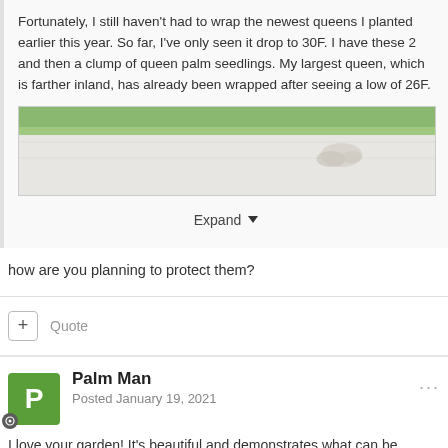Fortunately, I still haven't had to wrap the newest queens I planted earlier this year. So far, I've only seen it drop to 30F. I have these 2 and then a clump of queen palm seedlings. My largest queen, which is farther inland, has already been wrapped after seeing a low of 26F.
[Figure (photo): Outdoor garden photo showing plants near a paved surface with green foliage at the top]
Expand ▾
how are you planning to protect them?
+ Quote
Palm Man
Posted January 19, 2021
I love your garden! It's beautiful and demonstrates what can be